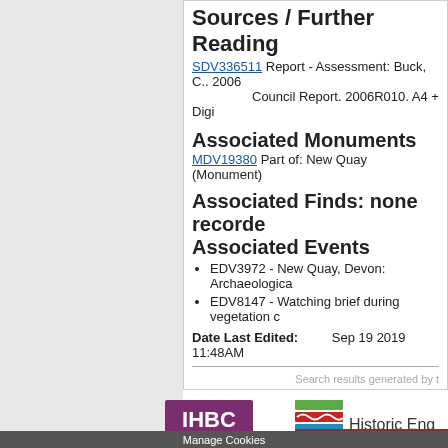Sources / Further Reading
SDV336511  Report - Assessment: Buck, C.. 2006 Council Report. 2006R010. A4 + Digi
Associated Monuments
MDV19380   Part of: New Quay (Monument)
Associated Finds: none recorde
Associated Events
EDV3972 - New Quay, Devon: Archaeologica
EDV8147 - Watching brief during vegetation c
Date Last Edited:    Sep 19 2019 11:48AM
Search results generated by t
[Figure (logo): IHBC - Institute of Historic Building Conservation logo]
[Figure (logo): Historic England logo with coloured wave stripes]
heritage gateway pa
Manage Cookies